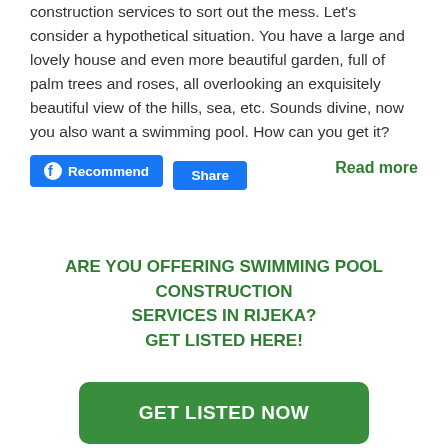construction services to sort out the mess. Let's consider a hypothetical situation. You have a large and lovely house and even more beautiful garden, full of palm trees and roses, all overlooking an exquisitely beautiful view of the hills, sea, etc. Sounds divine, now you also want a swimming pool. How can you get it?
[Figure (other): Facebook Recommend and Share buttons, and a Read more link in green]
ARE YOU OFFERING SWIMMING POOL CONSTRUCTION SERVICES IN RIJEKA?
GET LISTED HERE!
GET LISTED NOW